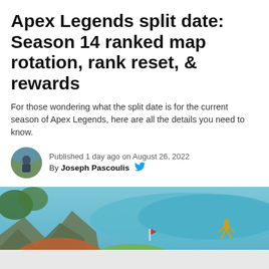Apex Legends split date: Season 14 ranked map rotation, rank reset, & rewards
For those wondering what the split date is for the current season of Apex Legends, here are all the details you need to know.
Published 1 day ago on August 26, 2022
By Joseph Pascoulis
[Figure (photo): Aerial panoramic view of the Apex Legends game map showing colorful terrain with mountains, water, and a character silhouette dropping in]